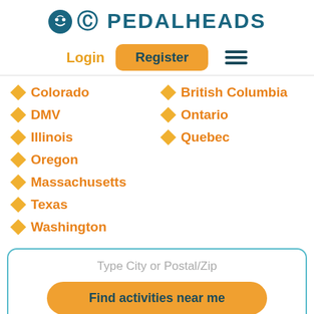[Figure (logo): Pedalheads logo with smiley bicycle icon and teal uppercase text PEDALHEADS]
Login  Register  (hamburger menu)
Colorado
DMV
Illinois
Oregon
Massachusetts
Texas
Washington
British Columbia
Ontario
Quebec
Type City or Postal/Zip
Find activities near me